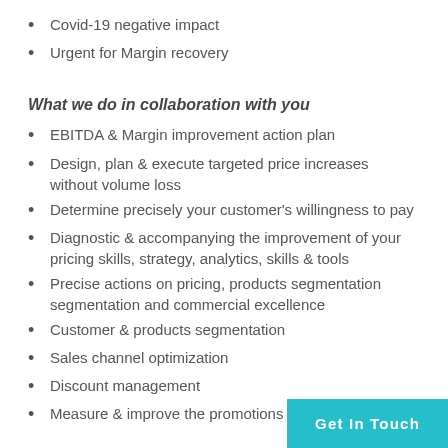Covid-19 negative impact
Urgent for Margin recovery
What we do in collaboration with you
EBITDA & Margin improvement action plan
Design, plan & execute targeted price increases without volume loss
Determine precisely your customer's willingness to pay
Diagnostic & accompanying the improvement of your pricing skills, strategy, analytics, skills & tools
Precise actions on pricing, products segmentation segmentation and commercial excellence
Customer & products segmentation
Sales channel optimization
Discount management
Measure & improve the promotions
Get In Touch